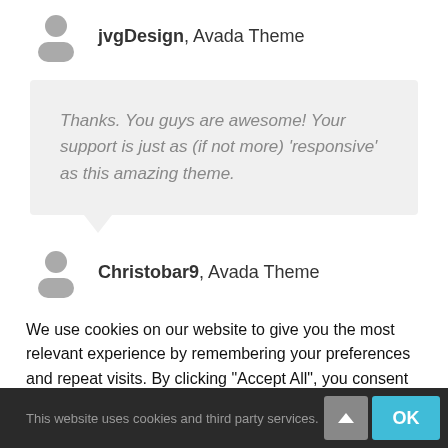jvgDesign, Avada Theme
Thanks. You guys are awesome! Your support is just as (if not more) 'responsive' as this amazing theme.
Christobar9, Avada Theme
We use cookies on our website to give you the most relevant experience by remembering your preferences and repeat visits. By clicking "Accept All", you consent to the use of ALL the cookies. However, you may visit "Cookie Settings" to provide a controlled consent.
This website uses cookies and third party services.